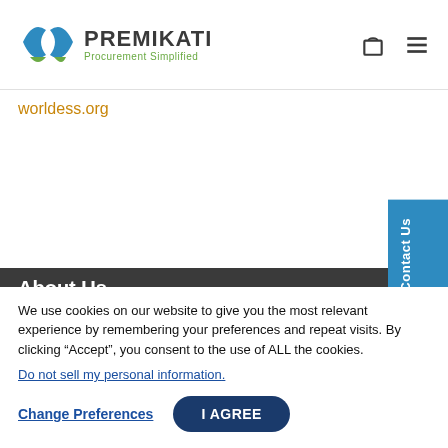PREMIKATI Procurement Simplified
worldess.org
About Us
We use cookies on our website to give you the most relevant experience by remembering your preferences and repeat visits. By clicking “Accept”, you consent to the use of ALL the cookies.
Do not sell my personal information.
Change Preferences
I AGREE